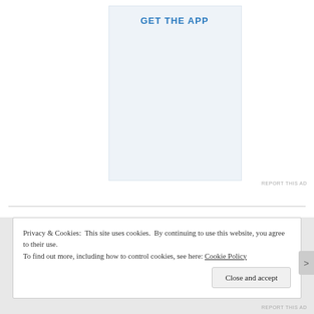GET THE APP
[Figure (other): App advertisement banner with light blue background]
REPORT THIS AD
Privacy & Cookies: This site uses cookies. By continuing to use this website, you agree to their use.
To find out more, including how to control cookies, see here: Cookie Policy
Close and accept
REPORT THIS AD